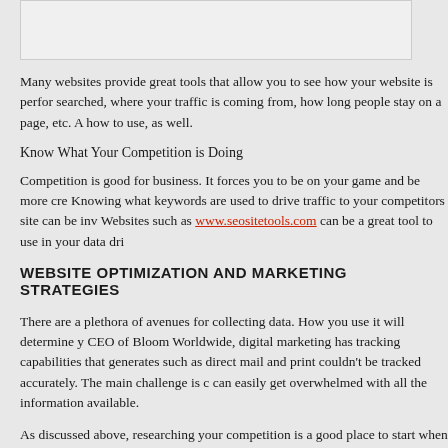[Figure (other): Light gray rectangular image placeholder at the top of the page]
Many websites provide great tools that allow you to see how your website is performing, what was searched, where your traffic is coming from, how long people stay on a page, etc. A how to use, as well.
Know What Your Competition is Doing
Competition is good for business. It forces you to be on your game and be more creative. Knowing what keywords are used to drive traffic to your competitors site can be invaluable. Websites such as www.seositetools.com can be a great tool to use in your data dri
WEBSITE OPTIMIZATION AND MARKETING STRATEGIES
There are a plethora of avenues for collecting data. How you use it will determine your success. CEO of Bloom Worldwide, digital marketing has tracking capabilities that generates such as direct mail and print couldn't be tracked accurately. The main challenge is can easily get overwhelmed with all the information available.
As discussed above, researching your competition is a good place to start when creating content that keeps them engaged. By using the keywords that bring customers to your website beneficial to your marketing strategy. Also, make sure that you are optimizing all as least two headers on each page or with each post, if you have a blog; and use exte